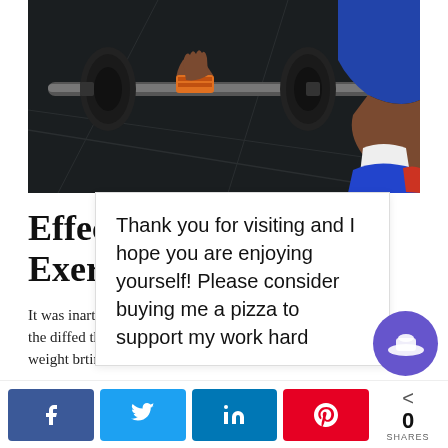[Figure (photo): A person gripping a barbell with weight plates on a dark gym floor, viewed from above and to the side. The person is wearing orange wrist wraps and blue shorts with white socks and red-accented sneakers.]
Effect ... f
Exerc ...
It was in ... art to feel the diffe ... d that my weight b ... rtin...
Thank you for visiting and I hope you are enjoying yourself! Please consider buying me a pizza to support my work hard...
0
SHARES